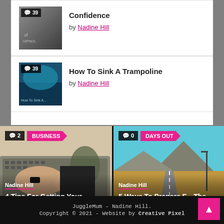[Figure (screenshot): Thumbnail image with comment badge showing 39]
Confidence
by Nadine Hill
[Figure (screenshot): Thumbnail image for How To Sink A Trampoline with comment badge showing 39]
How To Sink A Trampoline
by Nadine Hill
[Figure (photo): Card image: person typing on laptop with plant. Badge: 2 comments, BUSINESS category. Author: Nadine Hill. Title: 4 Tips For Getting Your Business Off The Ground]
[Figure (photo): Card image: landscape/road scene. Badge: 0 comments, DAYS OUT category. Author: Nadine Hill. Title: 5 Ways To Prepare F... The Kids]
JuggleMum - Nadine Hill.
Copyright © 2021 - Website by Creative Pixel